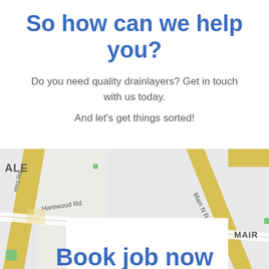So how can we help you?
Do you need quality drainlayers? Get in touch with us today.
And let's get things sorted!
[Figure (map): Street map showing area with roads including Main N Rd, Harewood Rd, with MALE and MAIR area labels visible]
Book job now